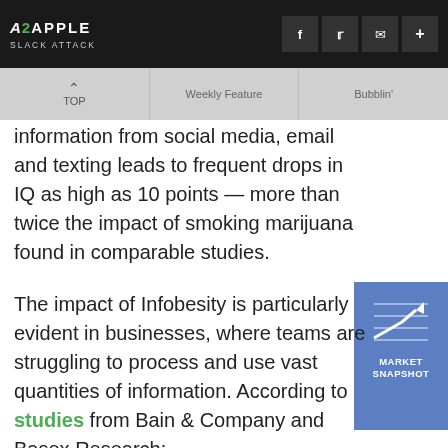A2APPLE SLACK ATTACK
TOP | Weekly Feature | Bubblin'
information from social media, email and texting leads to frequent drops in IQ as high as 10 points — more than twice the impact of smoking marijuana found in comparable studies.
[Figure (infographic): Market Snapshot widget with upward trend arrow icon on blue background]
The impact of Infobesity is particularly evident in businesses, where teams are struggling to process and use vast quantities of information. According to studies from Bain & Company and Basex Research: